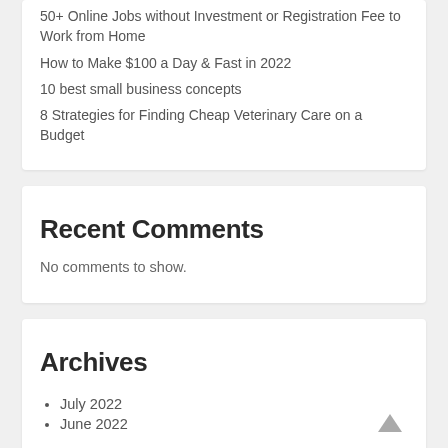50+ Online Jobs without Investment or Registration Fee to Work from Home
How to Make $100 a Day & Fast in 2022
10 best small business concepts
8 Strategies for Finding Cheap Veterinary Care on a Budget
Recent Comments
No comments to show.
Archives
July 2022
June 2022